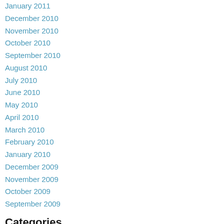January 2011
December 2010
November 2010
October 2010
September 2010
August 2010
July 2010
June 2010
May 2010
April 2010
March 2010
February 2010
January 2010
December 2009
November 2009
October 2009
September 2009
Categories
All
21st Century Etiquette Series